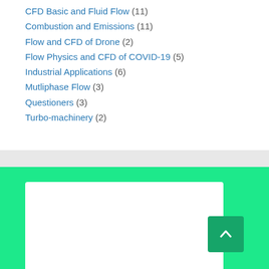CFD Basic and Fluid Flow (11)
Combustion and Emissions (11)
Flow and CFD of Drone (2)
Flow Physics and CFD of COVID-19 (5)
Industrial Applications (6)
Mutliphase Flow (3)
Questioners (3)
Turbo-machinery (2)
[Figure (other): Green footer section with white content box and dark green scroll-to-top button with upward arrow]